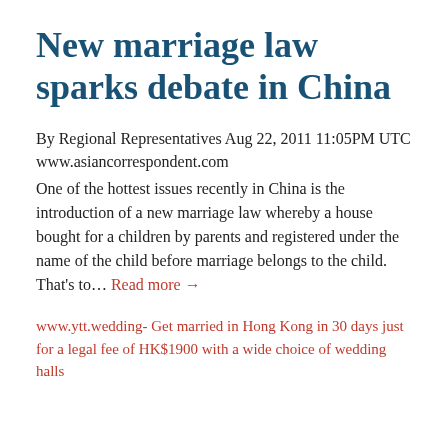New marriage law sparks debate in China
By Regional Representatives Aug 22, 2011 11:05PM UTC www.asiancorrespondent.com One of the hottest issues recently in China is the introduction of a new marriage law whereby a house bought for a children by parents and registered under the name of the child before marriage belongs to the child. That's to… Read more →
www.ytt.wedding- Get married in Hong Kong in 30 days just for a legal fee of HK$1900 with a wide choice of wedding halls